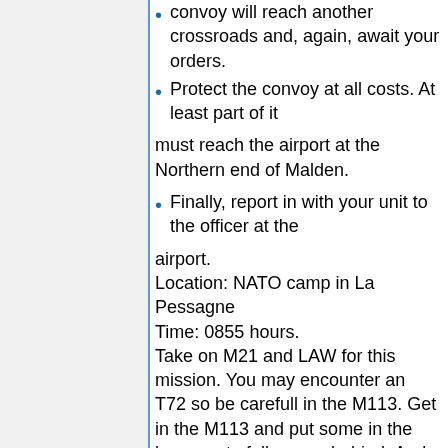convoy will reach another crossroads and, again, await your orders.
Protect the convoy at all costs. At least part of it
must reach the airport at the Northern end of Malden.
Finally, report in with your unit to the officer at the
airport.
Location: NATO camp in La Pessagne
Time: 0855 hours.
Take on M21 and LAW for this mission. You may encounter an T72 so be carefull in the M113. Get in the M113 and put some in the hummer to follow you behind. And your way to the first crossroad you'll find some soldier here and there. Once the first crossroad is clear move the convoy up there. Go rest